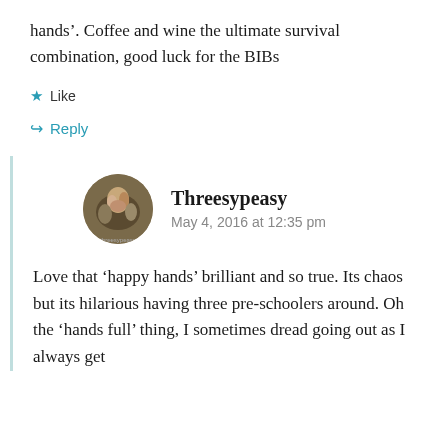hands’. Coffee and wine the ultimate survival combination, good luck for the BIBs
★ Like
↳ Reply
Threesypeasy
May 4, 2016 at 12:35 pm
Love that ‘happy hands’ brilliant and so true. Its chaos but its hilarious having three pre-schoolers around. Oh the ‘hands full’ thing, I sometimes dread going out as I always get